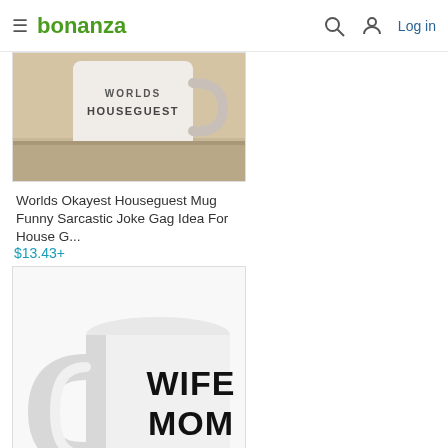bonanza — Log in
[Figure (photo): Product photo of 'Worlds Okayest Houseguest' ceramic mug on a wooden surface]
Worlds Okayest Houseguest Mug Funny Sarcastic Joke Gag Idea For House G...
$13.43+
[Figure (photo): Product photo of white ceramic mug with bold black text reading WIFE MOM BOSS]